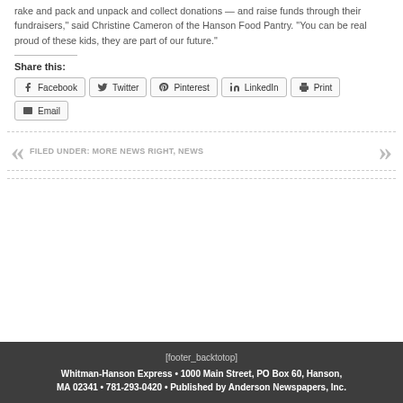rake and pack and unpack and collect donations — and raise funds through their fundraisers," said Christine Cameron of the Hanson Food Pantry. "You can be real proud of these kids, they are part of our future."
Share this:
Facebook  Twitter  Pinterest  LinkedIn  Print  Email
FILED UNDER: MORE NEWS RIGHT, NEWS
[footer_backtotop]
Whitman-Hanson Express • 1000 Main Street, PO Box 60, Hanson, MA 02341 • 781-293-0420 • Published by Anderson Newspapers, Inc.